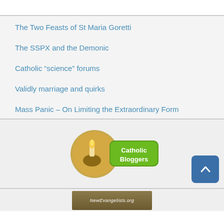The Two Feasts of St Maria Goretti
The SSPX and the Demonic
Catholic “science” forums
Validly marriage and quirks
Mass Panic – On Limiting the Extraordinary Form
[Figure (logo): Catholic Bloggers badge logo with a hand holding a candle inside a green circle with text 'Catholic Bloggers']
[Figure (logo): NewEvangelists.org footer banner (partially visible)]